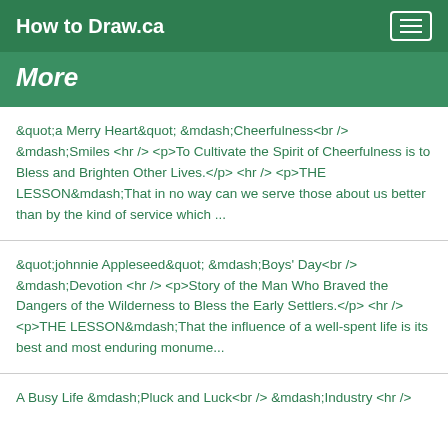How to Draw.ca
More
&quot;a Merry Heart&quot; &mdash;Cheerfulness<br /> &mdash;Smiles <hr /> <p>To Cultivate the Spirit of Cheerfulness is to Bless and Brighten Other Lives.</p> <hr /> <p>THE LESSON&mdash;That in no way can we serve those about us better than by the kind of service which ...
&quot;johnnie Appleseed&quot; &mdash;Boys' Day<br /> &mdash;Devotion <hr /> <p>Story of the Man Who Braved the Dangers of the Wilderness to Bless the Early Settlers.</p> <hr /> <p>THE LESSON&mdash;That the influence of a well-spent life is its best and most enduring monume...
A Busy Life &mdash;Pluck and Luck<br /> &mdash;Industry <hr />